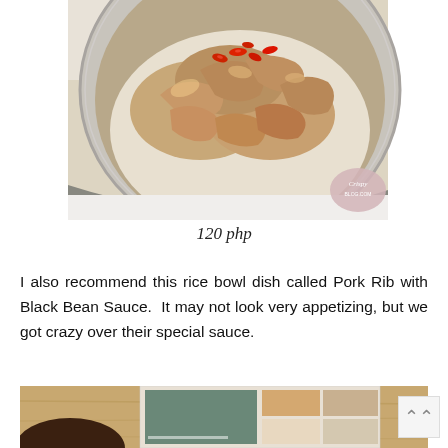[Figure (photo): Close-up overhead photo of a metal bowl containing pork ribs in sauce with red chili slices on top, served over white rice, on a white surface. A watermark logo appears in the lower right corner of the image.]
120 php
I also recommend this rice bowl dish called Pork Rib with Black Bean Sauce. It may not look very appetizing, but we got crazy over their special sauce.
[Figure (photo): Partial bottom photo showing a wooden surface with a dark bowl and what appears to be a menu or magazine with food photos visible.]